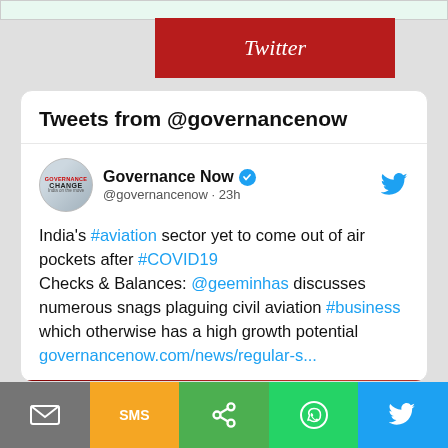Twitter
Tweets from @governancenow
Governance Now @governancenow · 23h
India's #aviation sector yet to come out of air pockets after #COVID19 Checks & Balances: @geeminhas discusses numerous snags plaguing civil aviation #business which otherwise has a high growth potential governancenow.com/news/regular-s...
[Figure (screenshot): Red banner image showing 'MULTIPLE CHALLENGES OF INDIAN AVIATION SECTOR' text with Governance Now branding]
[Figure (infographic): Bottom share bar with email, SMS, share, WhatsApp, and Twitter buttons]